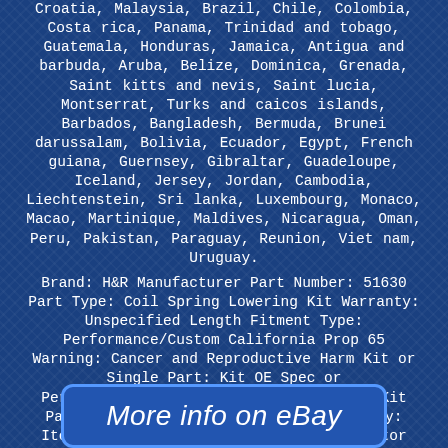Croatia, Malaysia, Brazil, Chile, Colombia, Costa rica, Panama, Trinidad and tobago, Guatemala, Honduras, Jamaica, Antigua and barbuda, Aruba, Belize, Dominica, Grenada, Saint kitts and nevis, Saint lucia, Montserrat, Turks and caicos islands, Barbados, Bangladesh, Bermuda, Brunei darussalam, Bolivia, Ecuador, Egypt, French guiana, Guernsey, Gibraltar, Guadeloupe, Iceland, Jersey, Jordan, Cambodia, Liechtenstein, Sri lanka, Luxembourg, Monaco, Macao, Martinique, Maldives, Nicaragua, Oman, Peru, Pakistan, Paraguay, Reunion, Viet nam, Uruguay.
Brand: H&R Manufacturer Part Number: 51630 Part Type: Coil Spring Lowering Kit Warranty: Unspecified Length Fitment Type: Performance/Custom California Prop 65 Warning: Cancer and Reproductive Harm Kit or Single Part: Kit OE Spec or Performance/Custom: Performance/Custom Kit Parts Included: Coil Spring Availability: Item will drop ship from their distributor UPC: Does Not Apply Note: Lowering varies by engine size and model Approx.
Lowering (F/R):: 1.6" / 2.3"
More info on eBay